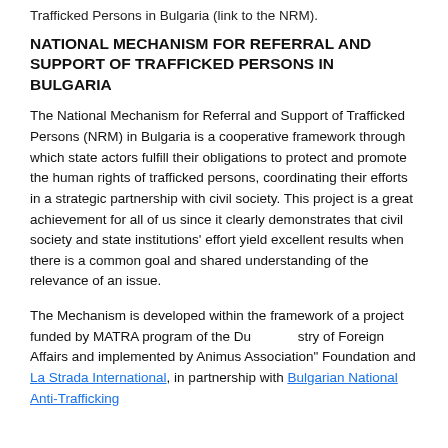Trafficked Persons in Bulgaria (link to the NRM).
NATIONAL MECHANISM FOR REFERRAL AND SUPPORT OF TRAFFICKED PERSONS IN BULGARIA
The National Mechanism for Referral and Support of Trafficked Persons (NRM) in Bulgaria is a cooperative framework through which state actors fulfill their obligations to protect and promote the human rights of trafficked persons, coordinating their efforts in a strategic partnership with civil society. This project is a great achievement for all of us since it clearly demonstrates that civil society and state institutions' effort yield excellent results when there is a common goal and shared understanding of the relevance of an issue.
The Mechanism is developed within the framework of a project funded by MATRA program of the Dutch Ministry of Foreign Affairs and implemented by Animus "Association" Foundation and La Strada International, in partnership with Bulgarian National Anti-Trafficking